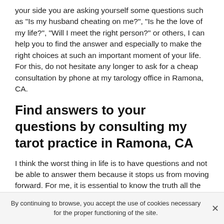your side you are asking yourself some questions such as "Is my husband cheating on me?", "Is he the love of my life?", "Will I meet the right person?" or others, I can help you to find the answer and especially to make the right choices at such an important moment of your life. For this, do not hesitate any longer to ask for a cheap consultation by phone at my tarology office in Ramona, CA.
Find answers to your questions by consulting my tarot practice in Ramona, CA
I think the worst thing in life is to have questions and not be able to answer them because it stops us from moving forward. For me, it is essential to know the truth all the time and also what I can do to find my way. I am not going to make you believe that it will be simple and that it can be
By continuing to browse, you accept the use of cookies necessary for the proper functioning of the site.